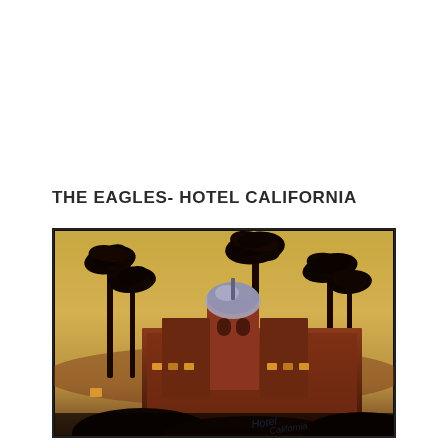THE EAGLES- HOTEL CALIFORNIA
[Figure (photo): Album cover of Hotel California by The Eagles. Shows a dusk/twilight photograph of a large Spanish-style hotel building with a distinctive domed tower, surrounded by tall palm trees silhouetted against a warm yellow-orange sky. The lower portion shows the hotel facade with lit windows, and the foreground has dark foliage. A blue neon/light signature appears at the bottom right.]